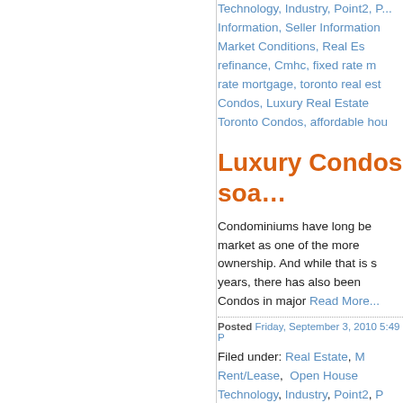Technology, Industry, Point2, Information, Seller Information, Market Conditions, Real Es... refinance, Cmhc, fixed rate m... rate mortgage, toronto real est... Condos, Luxury Real Estate... Toronto Condos, affordable hou...
Luxury Condos soa...
Condominiums have long be... market as one of the more ownership. And while that is s... years, there has also been Condos in major Read More...
Posted Friday, September 3, 2010 5:49 P...
Filed under: Real Estate, M... Rent/Lease, Open House... Technology, Industry, Point2, P... Information, Seller Information Market Conditions, Real E...